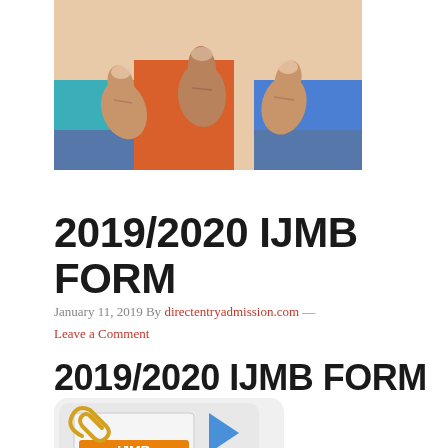[Figure (photo): Photo of people giving thumbs up gesture, showing hands and partial bodies]
2019/2020 IJMB FORM
January 11, 2019 By directentryadmission.com — Leave a Comment
2019/2020 IJMB FORM
[Figure (illustration): IJMB form icon/illustration showing a document with paperclip and blue arrow, with orange 'IJMB' text]